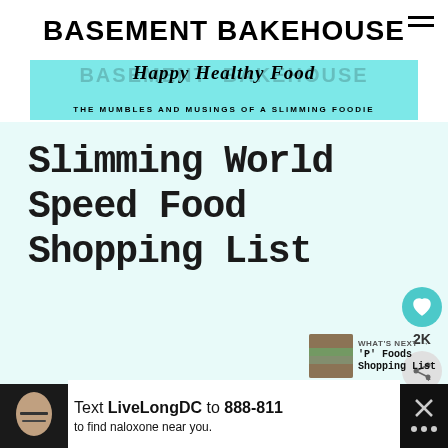BASEMENT BAKEHOUSE
[Figure (screenshot): Teal banner with script text 'Happy Healthy Food' overlaid on background site name text, with subtitle 'THE MUMBLES AND MUSINGS OF A SLIMMING FOODIE']
Slimming World Speed Food Shopping List
[Figure (infographic): Heart icon social save button showing 2K saves, and a share button below]
[Figure (infographic): What's Next panel with thumbnail and text: 'P' Foods Shopping List]
[Figure (screenshot): Advertisement banner: Text LiveLongDC to 888-811 to find naloxone near you.]